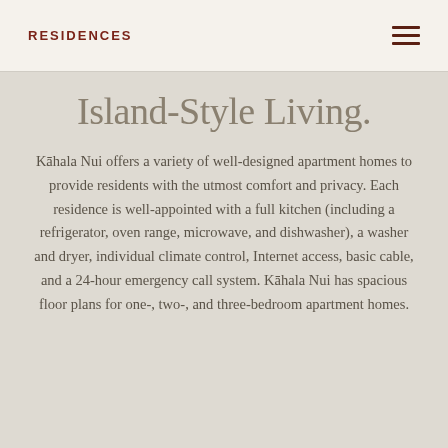RESIDENCES
Island-Style Living.
Kāhala Nui offers a variety of well-designed apartment homes to provide residents with the utmost comfort and privacy. Each residence is well-appointed with a full kitchen (including a refrigerator, oven range, microwave, and dishwasher), a washer and dryer, individual climate control, Internet access, basic cable, and a 24-hour emergency call system. Kāhala Nui has spacious floor plans for one-, two-, and three-bedroom apartment homes.